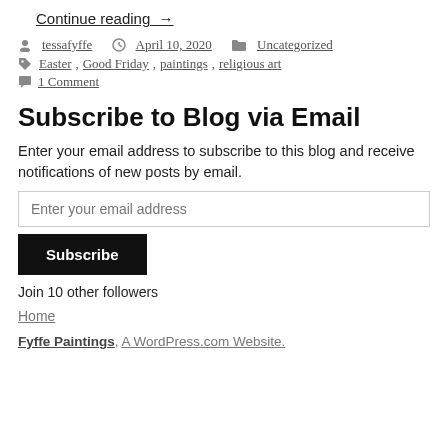Continue reading →
tessafyffe  April 10, 2020  Uncategorized
Easter, Good Friday, paintings, religious art
1 Comment
Subscribe to Blog via Email
Enter your email address to subscribe to this blog and receive notifications of new posts by email.
Enter your email address
Subscribe
Join 10 other followers
Home
Fyffe Paintings, A WordPress.com Website.